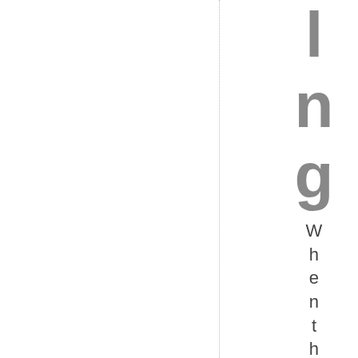l n g When the Alabama Board of Pa
When the Alabama Board of Pa